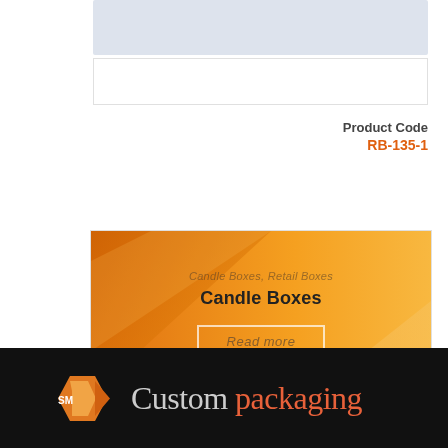Product Code
RB-135-1
[Figure (infographic): Orange gradient banner with geometric shapes, showing 'Candle Boxes, Retail Boxes' subtitle and 'Candle Boxes' title with a 'Read more' button]
Candle Boxes, Retail Boxes
Candle Boxes
Read more
[Figure (logo): SM Custom Packaging logo on black background with orange hexagon arrow logo and text 'Custom packaging']